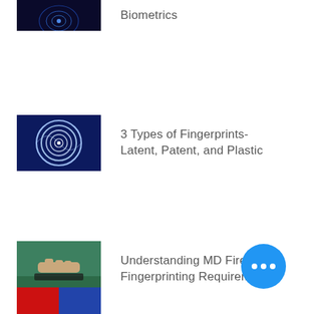[Figure (photo): Biometrics fingerprint digital blue image, partially cropped at top]
Biometrics
[Figure (photo): Glowing white fingerprint on dark blue background]
3 Types of Fingerprints- Latent, Patent, and Plastic
[Figure (photo): Person fingerprinting on green surface, hands with ink]
Understanding MD Firearms Fingerprinting Requirements
[Figure (illustration): Yellow badge with text WALK-IN HOURS]
Walk-in Hours (Updated)
[Figure (photo): Partially visible image at bottom of page]